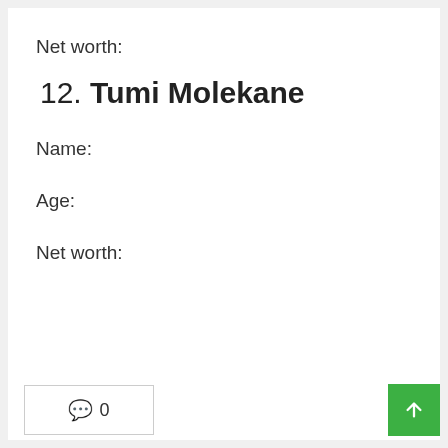Net worth:
12. Tumi Molekane
Name:
Age:
Net worth:
💬 0